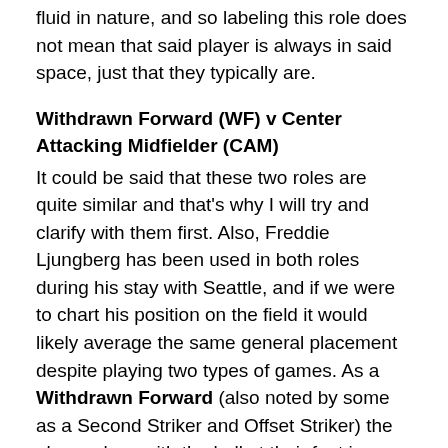fluid in nature, and so labeling this role does not mean that said player is always in said space, just that they typically are.
Withdrawn Forward (WF) v Center Attacking Midfielder (CAM)
It could be said that these two roles are quite similar and that's why I will try and clarify with them first. Also, Freddie Ljungberg has been used in both roles during his stay with Seattle, and if we were to chart his position on the field it would likely average the same general placement despite playing two types of games. As a Withdrawn Forward (also noted by some as a Second Striker and Offset Striker) the player plays with the ball at their feet in an effort to shoot. They use the Target Forward (CF, Striker) to help create space for their own runs. They tend not to be the target of the air